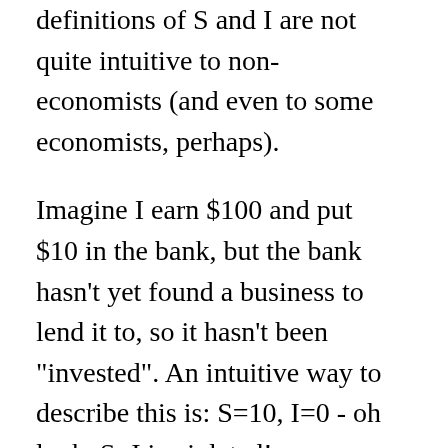definitions of S and I are not quite intuitive to non-economists (and even to some economists, perhaps).
Imagine I earn $100 and put $10 in the bank, but the bank hasn't yet found a business to lend it to, so it hasn't been "invested". An intuitive way to describe this is: S=10, I=0 - oh look, S=I is violated!
Of course S is not really 10, because my saving is cancelled out by the bank's borrowing (or the bank's shareholders' borrowing if you like). That's without even getting into the question of